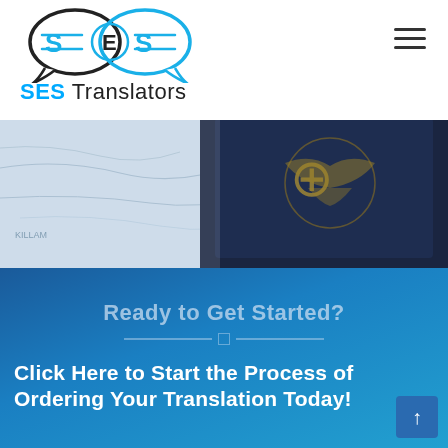[Figure (logo): SES Translators logo with two speech bubble icons and text 'SES Translators']
[Figure (photo): Close-up photo of a US passport on top of a map background]
Ready to Get Started?
Click Here to Start the Process of Ordering Your Translation Today!